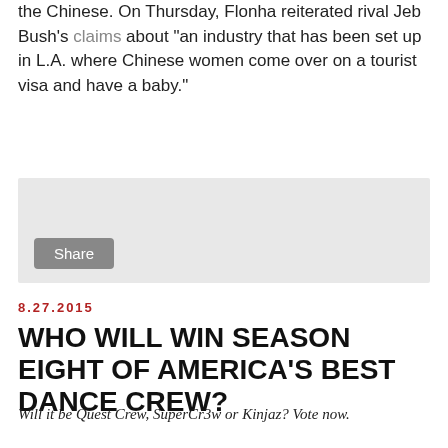the Chinese. On Thursday, Flonha reiterated rival Jeb Bush's claims about "an industry that has been set up in L.A. where Chinese women come over on a tourist visa and have a baby."
[Figure (screenshot): Share button widget box with grey background]
8.27.2015
WHO WILL WIN SEASON EIGHT OF AMERICA'S BEST DANCE CREW?
Will it be Quest Crew, SuperCr3w or Kinjaz? Vote now.
[Figure (photo): Three-panel photo strip showing dance crews performing]